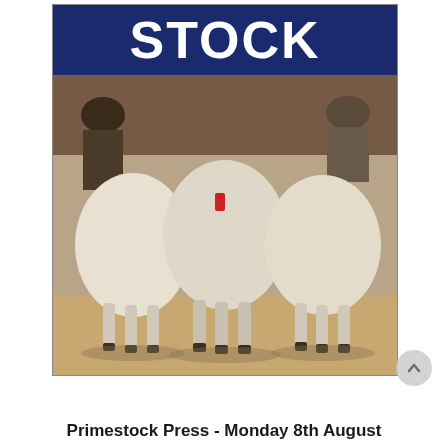[Figure (photo): Magazine/publication cover image showing three sheep viewed from behind, standing in a dusty paddock. Above the sheep is a dark blue banner with the word STOCK in large white bold text. Two people in hats are partially visible in the background.]
Primestock Press - Monday 8th August